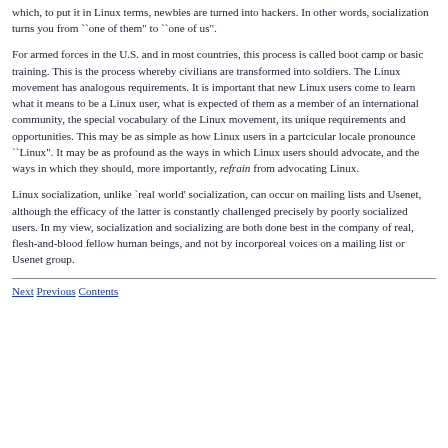which, to put it in Linux terms, newbies are turned into hackers. In other words, socialization turns you from ``one of them" to ``one of us".
For armed forces in the U.S. and in most countries, this process is called boot camp or basic training. This is the process whereby civilians are transformed into soldiers. The Linux movement has analogous requirements. It is important that new Linux users come to learn what it means to be a Linux user, what is expected of them as a member of an international community, the special vocabulary of the Linux movement, its unique requirements and opportunities. This may be as simple as how Linux users in a partcicular locale pronounce ``Linux". It may be as profound as the ways in which Linux users should advocate, and the ways in which they should, more importantly, refrain from advocating Linux.
Linux socialization, unlike `real world' socialization, can occur on mailing lists and Usenet, although the efficacy of the latter is constantly challenged precisely by poorly socialized users. In my view, socialization and socializing are both done best in the company of real, flesh-and-blood fellow human beings, and not by incorporeal voices on a mailing list or Usenet group.
Next Previous Contents